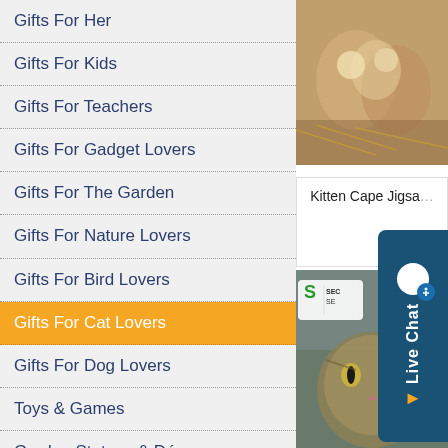Gifts For Her
Gifts For Kids
Gifts For Teachers
Gifts For Gadget Lovers
Gifts For The Garden
Gifts For Nature Lovers
Gifts For Bird Lovers
Gifts For Cat Lovers
Gifts For Dog Lovers
Toys & Games
Garden Statues & Décor
[Figure (photo): Photo of kittens in hay/straw]
Kitten Cape Jigsaw
[Figure (photo): Close-up photo of a tabby cat face]